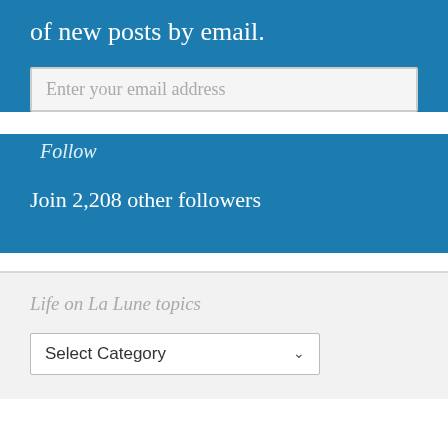of new posts by email.
Enter your email address
Follow
Join 2,208 other followers
Life on La Lune topics
Select Category